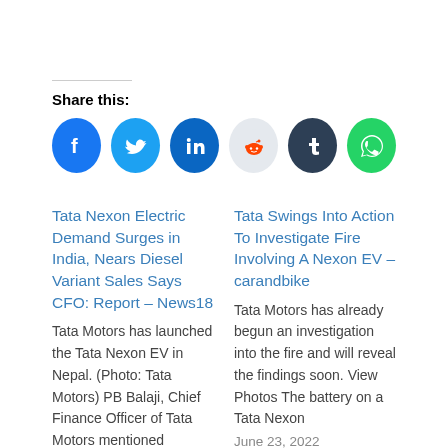Share this:
[Figure (other): Social share buttons: Facebook, Twitter, LinkedIn, Reddit, Tumblr, WhatsApp]
Tata Nexon Electric Demand Surges in India, Nears Diesel Variant Sales Says CFO: Report – News18
Tata Motors has launched the Tata Nexon EV in Nepal. (Photo: Tata Motors) PB Balaji, Chief Finance Officer of Tata Motors mentioned
August 1, 2021
In "News"
Tata Swings Into Action To Investigate Fire Involving A Nexon EV – carandbike
Tata Motors has already begun an investigation into the fire and will reveal the findings soon. View Photos The battery on a Tata Nexon
June 23, 2022
In "News"
Tata Nexon beats Hyundai Creta to become India's best selling SUV: Real reasons